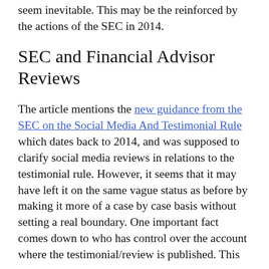seem inevitable. This may be the reinforced by the actions of the SEC in 2014.
SEC and Financial Advisor Reviews
The article mentions the new guidance from the SEC on the Social Media And Testimonial Rule which dates back to 2014, and was supposed to clarify social media reviews in relations to the testimonial rule. However, it seems that it may have left it on the same vague status as before by making it more of a case by case basis without setting a real boundary. One important fact comes down to who has control over the account where the testimonial/review is published. This